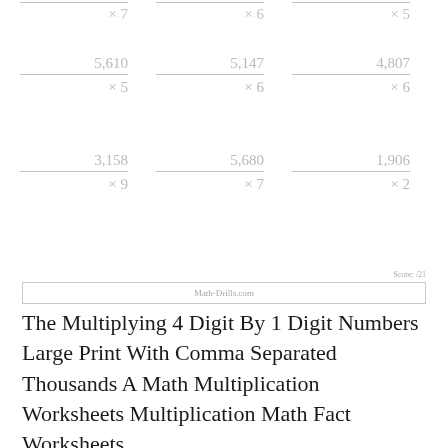[Figure (other): Partial view of multiplication worksheet showing 6 math problems: 5,610×5; 5,147×6; 4,807×6; 3,158×9; 5,680×7; 1,906×2. Top row is partially cut off showing ×7, ×6, ×5.]
Score: /21
Math-Drills.com
The Multiplying 4 Digit By 1 Digit Numbers Large Print With Comma Separated Thousands A Math Multiplication Worksheets Multiplication Math Fact Worksheets